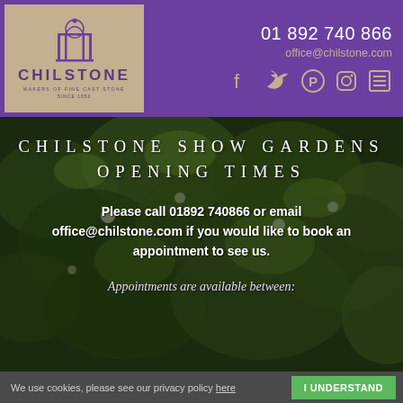01 892 740 866 | office@chilstone.com
[Figure (logo): Chilstone logo — arch illustration above the word CHILSTONE, tagline MAKERS OF FINE CAST STONE SINCE 1856, on a khaki/tan background]
CHILSTONE SHOW GARDENS OPENING TIMES
Please call 01892 740866 or email office@chilstone.com if you would like to book an appointment to see us.
Appointments are available between:
We use cookies, please see our privacy policy here   I UNDERSTAND